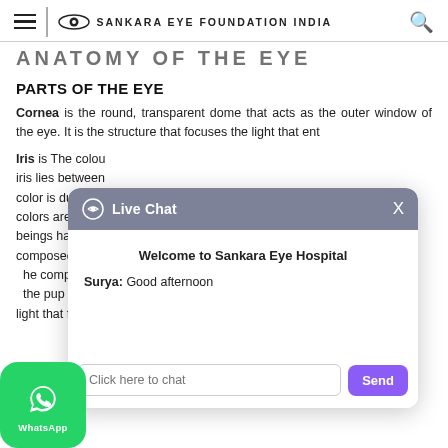SANKARA EYE FOUNDATION INDIA
ANATOMY OF THE EYE
PARTS OF THE EYE
Cornea is the round, transparent dome that acts as the outer window of the eye. It is the structure that focuses the light that enters the eye.
Iris is The colour of the eye. The iris lies between the cornea and the crystalline lens. The color is due to the amount of melanin, the most common eye colors are blue, brown, and green. Most human beings have varying shades of brown. The iris is composed of connective tissue and smooth muscles. The components of the iris are: the pupil (the small opening in the iris that allows light that falls on the retina)...
[Figure (screenshot): Live Chat popup overlay from Sankara Eye Hospital website showing 'Welcome to Sankara Eye Hospital' message and 'Surya: Good afternoon' chat message, with a text input field 'Click here to chat' and a purple Send button.]
[Figure (logo): WhatsApp button in green with WhatsApp logo icon and 'WhatsApp' text label.]